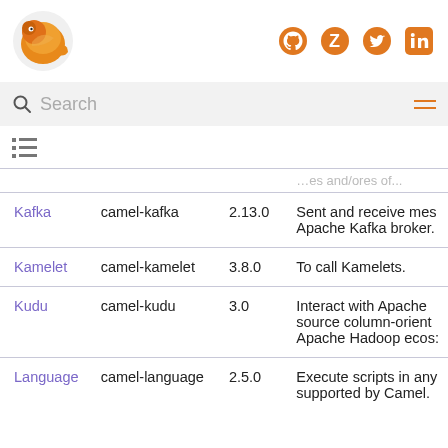[Figure (logo): Apache Camel orange bird logo (top left) and social media icons: GitHub, Zulip, Twitter, LinkedIn (top right)]
[Figure (screenshot): Search bar with magnifying glass icon and hamburger menu icon]
[Figure (other): List/table of contents icon]
| Name | Artifact | Since | Description |
| --- | --- | --- | --- |
| Kafka | camel-kafka | 2.13.0 | Sent and receive mes Apache Kafka broker. |
| Kamelet | camel-kamelet | 3.8.0 | To call Kamelets. |
| Kudu | camel-kudu | 3.0 | Interact with Apache source column-orient Apache Hadoop ecos: |
| Language | camel-language | 2.5.0 | Execute scripts in any supported by Camel. |